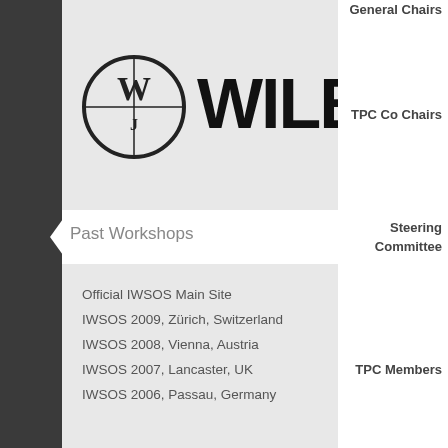[Figure (logo): Wiley publisher logo with circular 'W' emblem and bold WILEY text]
Past Workshops
Official IWSOS Main Site
IWSOS 2009, Zürich, Switzerland
IWSOS 2008, Vienna, Austria
IWSOS 2007, Lancaster, UK
IWSOS 2006, Passau, Germany
General Chairs
TPC Co Chairs
Steering Committee
TPC Members